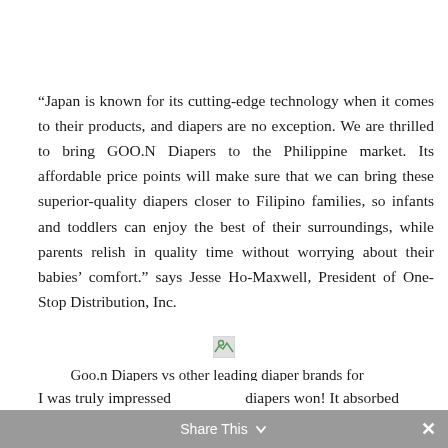“Japan is known for its cutting-edge technology when it comes to their products, and diapers are no exception. We are thrilled to bring GOO.N Diapers to the Philippine market. Its affordable price points will make sure that we can bring these superior-quality diapers closer to Filipino families, so infants and toddlers can enjoy the best of their surroundings, while parents relish in quality time without worrying about their babies’ comfort.” says Jesse Ho-Maxwell, President of One-Stop Distribution, Inc.
[Figure (photo): Broken/loading image placeholder (small icon)]
Goo.n Diapers vs other leading diaper brands for Absorbancy Test
I was truly impressed Share This diapers won! It absorbed
Share This